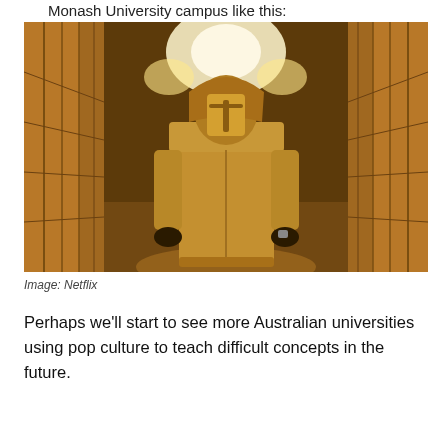Monash University campus like this:
[Figure (photo): A person wearing a gold metallic mask and gold/brown hooded coat standing in a ornate corridor with golden reflective walls and warm chandelier lighting, styled like a scene from a Netflix production.]
Image: Netflix
Perhaps we'll start to see more Australian universities using pop culture to teach difficult concepts in the future.